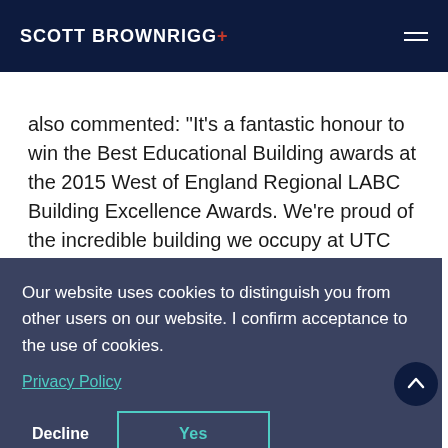SCOTT BROWNRIGG+
also commented: "It's a fantastic honour to win the Best Educational Building awards at the 2015 West of England Regional LABC Building Excellence Awards. We're proud of the incredible building we occupy at UTC Swindon. The site plays a big part in nurturing and inspiring our students. We are now
Our website uses cookies to distinguish you from other users on our website. I confirm acceptance to the use of cookies.
Privacy Policy
Decline   Yes
Winning the award sees UTC Swindon shortlisted for